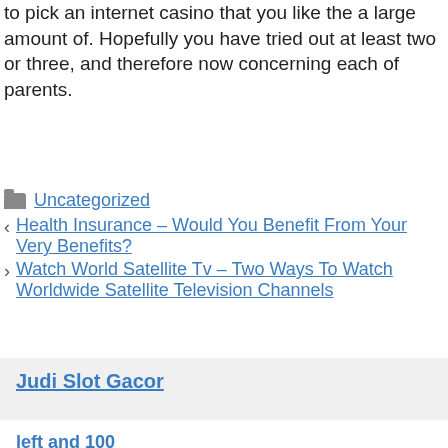to pick an internet casino that you like the a large amount of. Hopefully you have tried out at least two or three, and therefore now concerning each of parents.
Uncategorized
Health Insurance – Would You Benefit From Your Very Benefits?
Watch World Satellite Tv – Two Ways To Watch Worldwide Satellite Television Channels
Judi Slot Gacor
left and 100